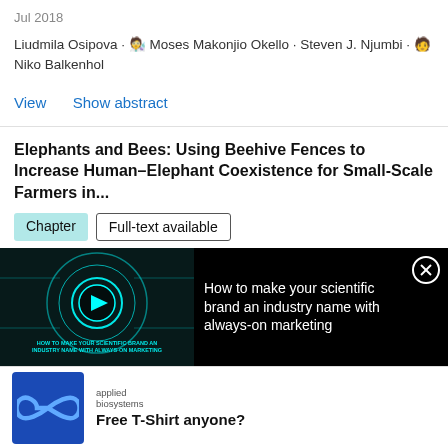Jul 2018
Liudmila Osipova · 🧑‍🔬 Moses Makonjio Okello · Steven J. Njumbi · 🧑 Niko Balkenhol
View   Show abstract
Elephants and Bees: Using Beehive Fences to Increase Human–Elephant Coexistence for Small-Scale Farmers in...
Chapter   Full-text available
May 2019
[Figure (screenshot): Dark ad banner overlay showing a video thumbnail on the left with a teal glowing circular graphic and text 'HOW TO MAKE YOUR SCIENTIFIC BRAND AN INDUSTRY NAME WITH ALWAYS-ON MARKETING' and a play button, and on the right white text 'How to make your scientific brand an industry name with always-on marketing' with a close X button.]
[Figure (screenshot): White ad card at bottom with Applied Biosystems branding showing a blue infinity logo on the left and bold text 'Free T-Shirt anyone?' on the right.]